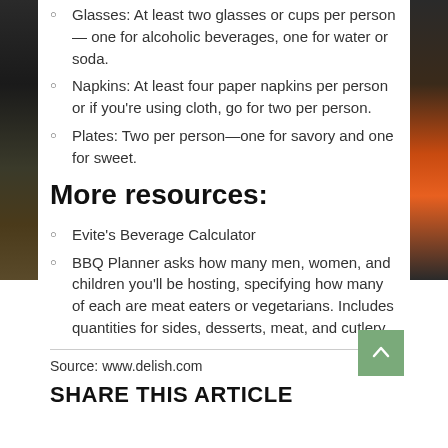Glasses: At least two glasses or cups per person — one for alcoholic beverages, one for water or soda.
Napkins: At least four paper napkins per person or if you're using cloth, go for two per person.
Plates: Two per person—one for savory and one for sweet.
More resources:
Evite's Beverage Calculator
BBQ Planner asks how many men, women, and children you'll be hosting, specifying how many of each are meat eaters or vegetarians. Includes quantities for sides, desserts, meat, and cutlery.
Source: www.delish.com
SHARE THIS ARTICLE